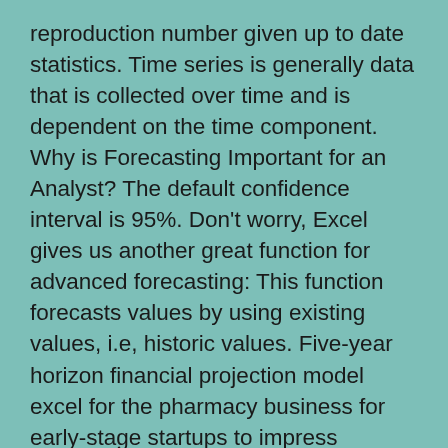reproduction number given up to date statistics. Time series is generally data that is collected over time and is dependent on the time component. Why is Forecasting Important for an Analyst? The default confidence interval is 95%. Don't worry, Excel gives us another great function for advanced forecasting: This function forecasts values by using existing values, i.e, historic values. Five-year horizon financial projection model excel for the pharmacy business for early-stage startups to impress investors and raise capital. It can be overwhelming to understand all the functions so let us begin by practically working on a case study. Pharmaceutical Industry Comps Template. Forecasting has become more important in recent years and has slowly crept into many different job roles within a variety of pharmaceutical organisations. While I won't be going deep into the method, I will mention a few must-know points: It returns the number of seasonal patterns that Excel detects in the timeline. The sales have picked up in the preceeding months of July and August.